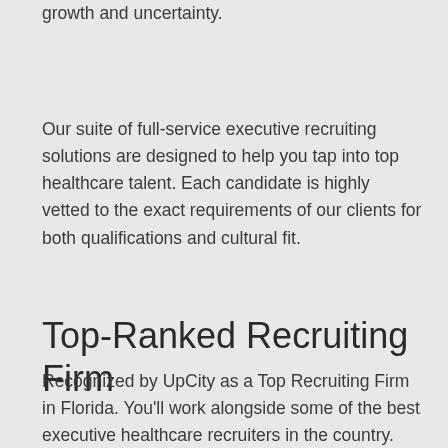growth and uncertainty.
Our suite of full-service executive recruiting solutions are designed to help you tap into top healthcare talent. Each candidate is highly vetted to the exact requirements of our clients for both qualifications and cultural fit.
Top-Ranked Recruiting Firm
Recognized by UpCity as a Top Recruiting Firm in Florida. You'll work alongside some of the best executive healthcare recruiters in the country.